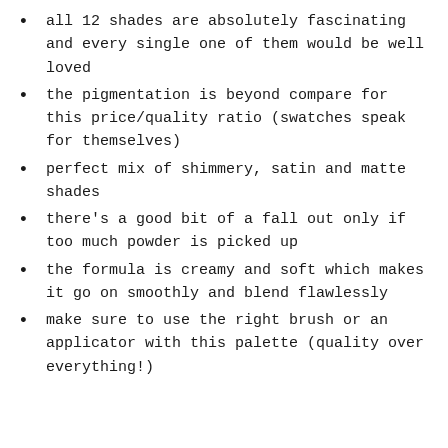all 12 shades are absolutely fascinating and every single one of them would be well loved
the pigmentation is beyond compare for this price/quality ratio (swatches speak for themselves)
perfect mix of shimmery, satin and matte shades
there's a good bit of a fall out only if too much powder is picked up
the formula is creamy and soft which makes it go on smoothly and blend flawlessly
make sure to use the right brush or an applicator with this palette (quality over everything!)